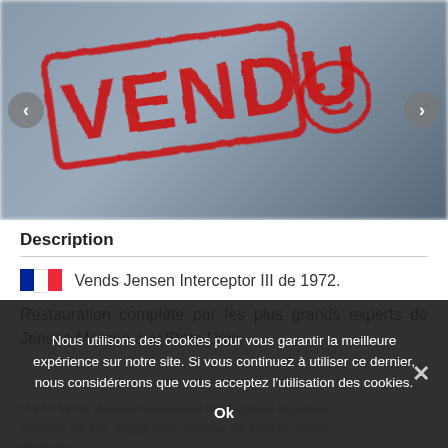[Figure (photo): Car listing image with a large red VENDU (sold) stamp overlay with smiley face, navigation arrows on left and right, blurred car background]
Description
Vends Jensen Interceptor III de 1972.
Restauration complète par les plus grands experts de Jensen Marque aux Etats-Unis.
(1972-1973) Jensen Interceptor III Matching Numbers. Intérieur en cuir rouge-brun, tableau de bord en ronce de noyer.
Couleur : Pearl Gunmetal avec toit en vinyle. Asc intérieur en cuir rouge.
Nous utilisons des cookies pour vous garantir la meilleure expérience sur notre site. Si vous continuez à utiliser ce dernier, nous considérerons que vous acceptez l'utilisation des cookies.